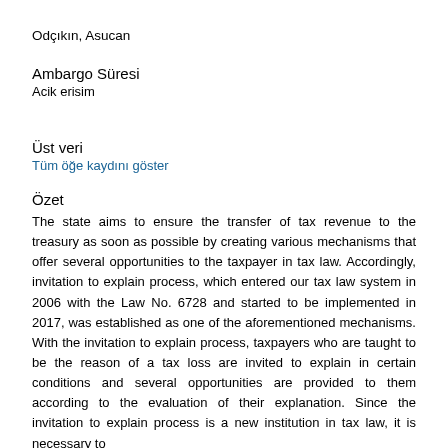Odçıkın, Asucan
Ambargo Süresi
Acik erisim
Üst veri
Tüm öğe kaydını göster
Özet
The state aims to ensure the transfer of tax revenue to the treasury as soon as possible by creating various mechanisms that offer several opportunities to the taxpayer in tax law. Accordingly, invitation to explain process, which entered our tax law system in 2006 with the Law No. 6728 and started to be implemented in 2017, was established as one of the aforementioned mechanisms. With the invitation to explain process, taxpayers who are taught to be the reason of a tax loss are invited to explain in certain conditions and several opportunities are provided to them according to the evaluation of their explanation. Since the invitation to explain process is a new institution in tax law, it is necessary to